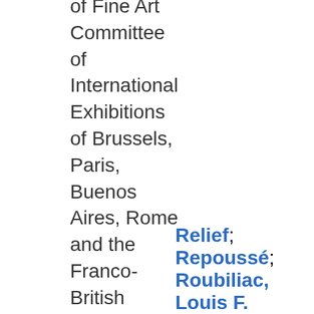of Fine Art Committee of International Exhibitions of Brussels, Paris, Buenos Aires, Rome and the Franco-British Exhibition, London. Author of History of "Punch"; British
Relief; Repoussé; Roubiliac, Louis F.